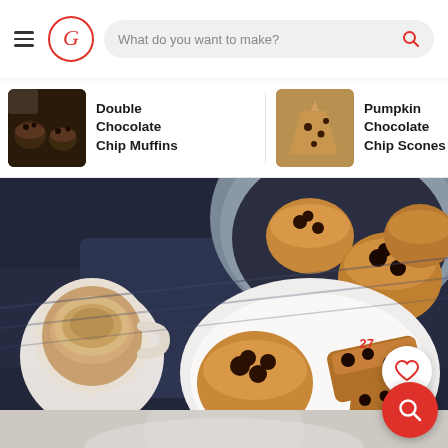[Figure (screenshot): Mobile app header with hamburger menu, G logo in red circle, and search bar reading 'What do you want to make?' with red search icon]
[Figure (screenshot): Horizontal carousel of recipe suggestions: Double Chocolate Chip Muffins, Pumpkin Chocolate Chip Scones, Chocolate Chip (Pumpkin) Bread]
Double Chocolate Chip Muffins
Pumpkin Chocolate Chip Scones
Chocolate Chip Bread
[Figure (photo): Overhead food photography showing chocolate chip muffins on a white plate and in a dark bowl, alongside a white mug of coffee/latte, on a dark blue denim cloth background. A white heart like button with count 27 and a red search FAB button are overlaid on the bottom right.]
27